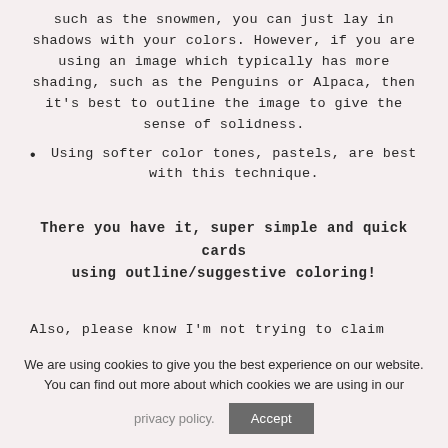such as the snowmen, you can just lay in shadows with your colors. However, if you are using an image which typically has more shading, such as the Penguins or Alpaca, then it's best to outline the image to give the sense of solidness.
Using softer color tones, pastels, are best with this technique.
There you have it, super simple and quick cards using outline/suggestive coloring!
Also, please know I'm not trying to claim that I developed this technique but simply sharing my coloring process and tips that might help you if
We are using cookies to give you the best experience on our website. You can find out more about which cookies we are using in our privacy policy.
Accept